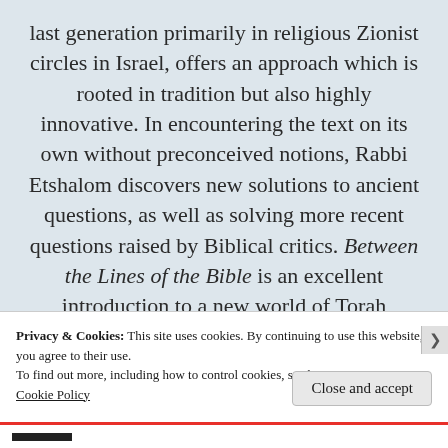last generation primarily in religious Zionist circles in Israel, offers an approach which is rooted in tradition but also highly innovative. In encountering the text on its own without preconceived notions, Rabbi Etshalom discovers new solutions to ancient questions, as well as solving more recent questions raised by Biblical critics. Between the Lines of the Bible is an excellent introduction to a new world of Torah commentary which is both highly original and deeply committed.
Privacy & Cookies: This site uses cookies. By continuing to use this website, you agree to their use.
To find out more, including how to control cookies, see here: Cookie Policy